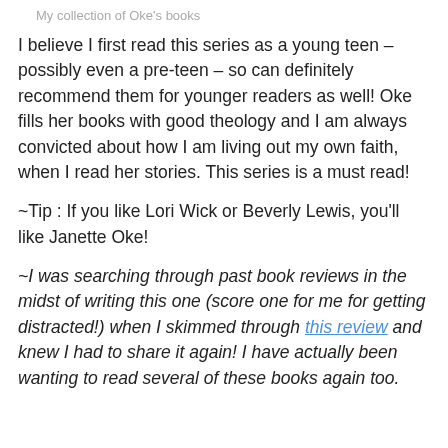My collection of Oke's books
I believe I first read this series as a young teen – possibly even a pre-teen – so can definitely recommend them for younger readers as well! Oke fills her books with good theology and I am always convicted about how I am living out my own faith, when I read her stories. This series is a must read!
~Tip : If you like Lori Wick or Beverly Lewis, you'll like Janette Oke!
~I was searching through past book reviews in the midst of writing this one (score one for me for getting distracted!) when I skimmed through this review and knew I had to share it again! I have actually been wanting to read several of these books again too.